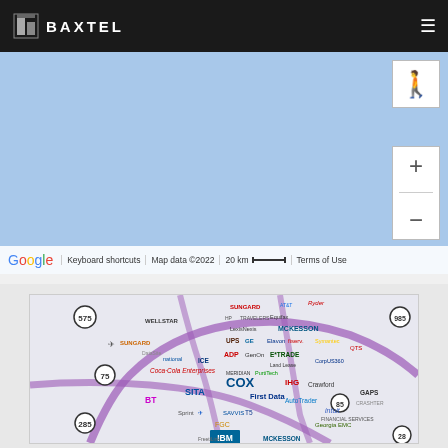BAXTEL
[Figure (map): Google Maps embedded view showing a geographic area in light blue/sky color representing a map background. Shows Google branding, zoom controls (+/-), street view pegman, keyboard shortcuts, map data ©2022, 20 km scale bar, and Terms of Use links at the bottom.]
[Figure (infographic): Business infographic map of Atlanta area showing logos of major companies including Sungard, Equifax, Ryder, HP, AT&T, Travelers, LexisNexis, McKesson, UPS, GE, Elavon, Fiserv, Symantec, ADP, GenOn, E*TRADE, Land Lease, Wellstar, National, ICE, Coca-Cola Enterprises, COX, IHG, Crawford, First Data, SITA, BT, AutoTrader, Sprint, Savvis, T5, FGC, IBM, FreetiLink, McKesson, Georgia EMC, Intuit, GAPS, QTS, DataSite, CorpUS360, and others. Highway routes 575, 75, 285, 85, 985 are shown.]